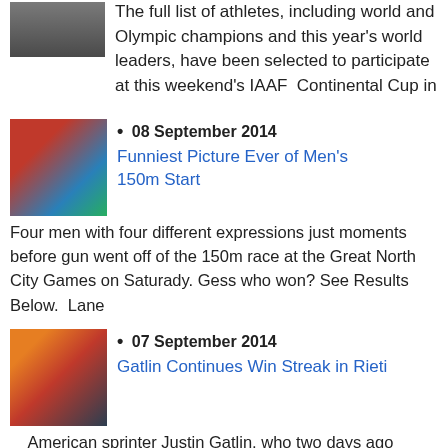[Figure (photo): Partial image of athletes at top of page]
The full list of athletes, including world and Olympic champions and this year's world leaders, have been selected to participate at this weekend's IAAF Continental Cup in
[Figure (photo): Photo of men's 150m start at Great North City Games, runners on red track]
• 08 September 2014
Funniest Picture Ever of Men's 150m Start
Four men with four different expressions just moments before gun went off of the 150m race at the Great North City Games on Saturady. Gess who won? See Results Below. Lane
[Figure (photo): Photo of Justin Gatlin running on track in red and blue kit]
• 07 September 2014
Gatlin Continues Win Streak in Rieti
American sprinter Justin Gatlin, who two days ago claimed Brussels Diamond League sprint trophy, continued his win streak with a victory over 100m in Rieti on